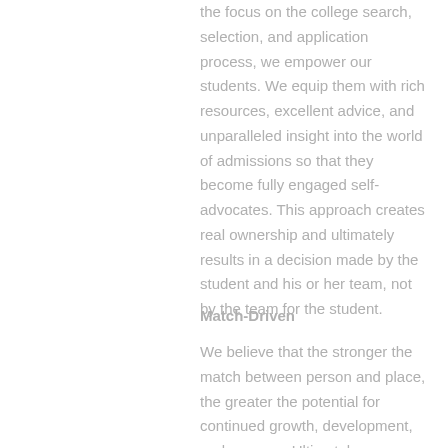the focus on the college search, selection, and application process, we empower our students. We equip them with rich resources, excellent advice, and unparalleled insight into the world of admissions so that they become fully engaged self-advocates. This approach creates real ownership and ultimately results in a decision made by the student and his or her team, not by the team for the student.
Match-Driven
We believe that the stronger the match between person and place, the greater the potential for continued growth, development, and success. Ultimately,